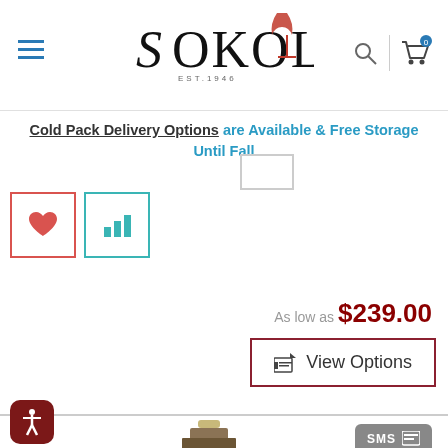[Figure (logo): Sokolin wine store logo with EST. 1946 text and wine glass icon]
Cold Pack Delivery Options are Available & Free Storage Until Fall
[Figure (screenshot): Wishlist heart button (red border), compare bar chart button (teal border), and empty square button]
As low as $239.00
View Options
[Figure (photo): Wine bottle with gold label, partially visible at bottom of page]
[Figure (screenshot): SMS and chat/message floating buttons on right side, and accessibility button on bottom left]